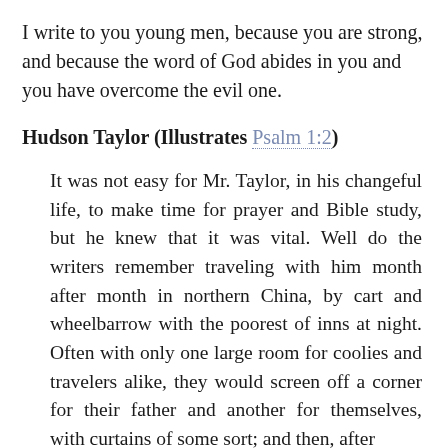I write to you young men, because you are strong, and because the word of God abides in you and you have overcome the evil one.
Hudson Taylor (Illustrates Psalm 1:2)
It was not easy for Mr. Taylor, in his changeful life, to make time for prayer and Bible study, but he knew that it was vital. Well do the writers remember traveling with him month after month in northern China, by cart and wheelbarrow with the poorest of inns at night. Often with only one large room for coolies and travelers alike, they would screen off a corner for their father and another for themselves, with curtains of some sort; and then, after